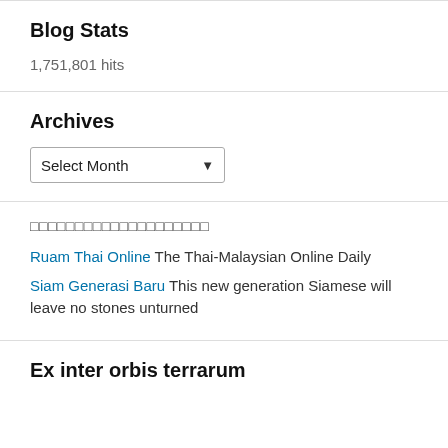Blog Stats
1,751,801 hits
Archives
Select Month
□□□□□□□□□□□□□□□□□□□□
Ruam Thai Online The Thai-Malaysian Online Daily
Siam Generasi Baru This new generation Siamese will leave no stones unturned
Ex inter orbis terrarum